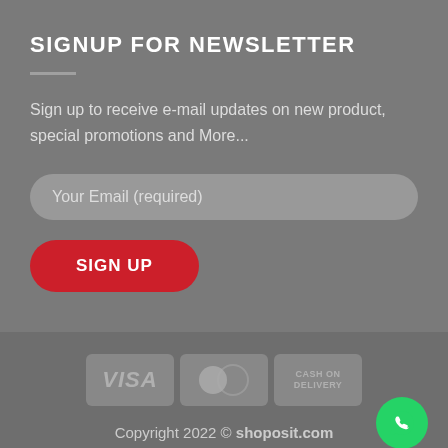SIGNUP FOR NEWSLETTER
Sign up to receive e-mail updates on new product, special promotions and More...
Your Email (required)
SIGN UP
[Figure (other): Payment method icons: VISA, MasterCard, CASH ON DELIVERY]
Copyright 2022 © shoposit.com